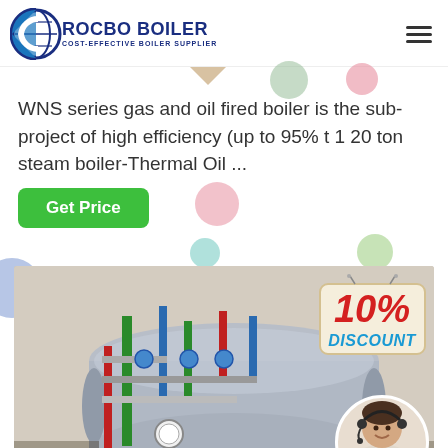[Figure (logo): Rocbo Boiler logo with circular emblem and text 'ROCBO BOILER - COST-EFFECTIVE BOILER SUPPLIER']
WNS series gas and oil fired boiler is the sub-project of high efficiency (up to 95% t 1 20 ton steam boiler-Thermal Oil ...
[Figure (other): Green 'Get Price' button]
[Figure (photo): Industrial boiler room with piping, valves, gauges and a large cylindrical steam boiler tank. Overlay shows '10% DISCOUNT' badge and a customer service representative with headset, with '7X24 Online' banner at bottom.]